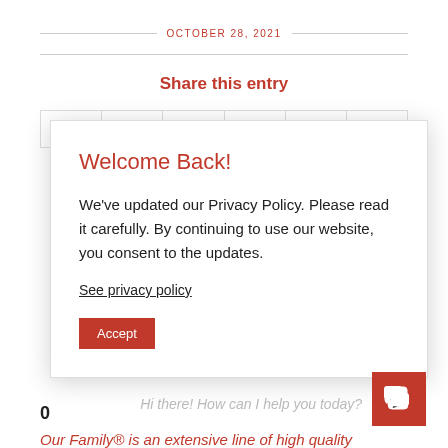OCTOBER 28, 2021
Share this entry
Welcome Back!
We've updated our Privacy Policy. Please read it carefully. By continuing to use our website, you consent to the updates.
See privacy policy
Accept
Hi there! How can I help you today?
0
Our Family® is an extensive line of high quality